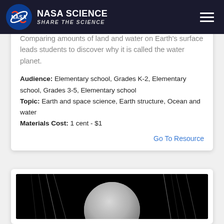NASA SCIENCE SHARE THE SCIENCE
Comparing amounts of land and water on Earth's surface leads students to discover why it is called the water planet.
Audience: Elementary school, Grades K-2, Elementary school, Grades 3-5, Elementary school
Topic: Earth and space science, Earth structure, Ocean and water
Materials Cost: 1 cent - $1
Go To Resource
[Figure (photo): Astronomical image showing a grey spherical celestial body (possibly the Moon or a planet) against a black background with thin bright lines (possibly star trails or surface features)]